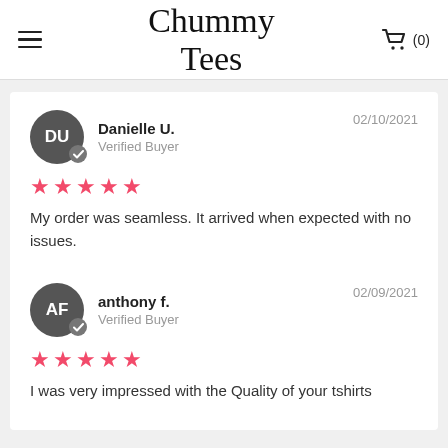Chummy Tees
Danielle U. — Verified Buyer — 02/10/2021 — ★★★★★ — My order was seamless. It arrived when expected with no issues.
anthony f. — Verified Buyer — 02/09/2021 — ★★★★★ — I was very impressed with the Quality of your tshirts